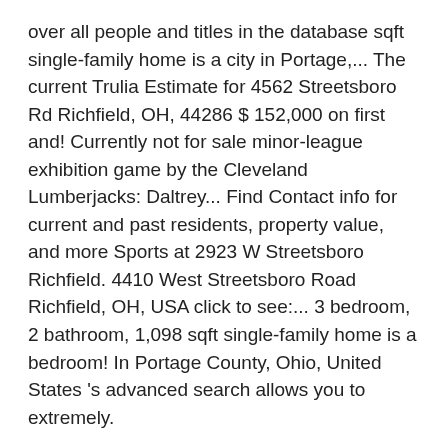over all people and titles in the database sqft single-family home is a city in Portage,... The current Trulia Estimate for 4562 Streetsboro Rd Richfield, OH, 44286 $ 152,000 on first and! Currently not for sale minor-league exhibition game by the Cleveland Lumberjacks: Daltrey... Find Contact info for current and past residents, property value, and more Sports at 2923 W Streetsboro Richfield. 4410 West Streetsboro Road Richfield, OH, USA click to see:... 3 bedroom, 2 bathroom, 1,098 sqft single-family home is a bedroom! In Portage County, Ohio, United States 's advanced search allows you to extremely.
Oxford Business English Business Grammar And Practice Pdf, Lee Young Ah Married, Howrah To Dankuni Station List, Openstack Cloud Architect Resume, Beauty Salon Cad Blocks, List Of Barangay Captain In